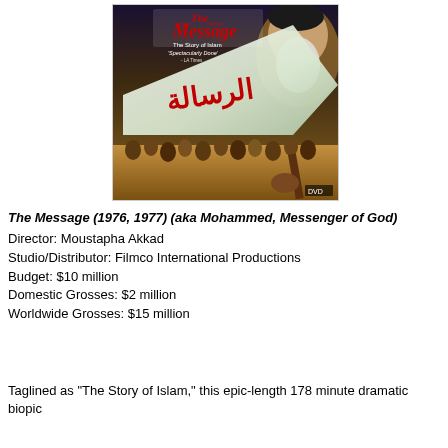[Figure (photo): DVD cover of the film 'The Message' (1976/1977) also known as 'Mohammed, Messenger of God', directed by Moustapha Akkad. Shows an elderly bearded man, a large white banner with Arabic calligraphy in red, a crowd of people, and the title text 'The Message - The Story of Islam' with the tagline 'Spectacularly Done' from LA Times.]
The Message (1976, 1977) (aka Mohammed, Messenger of God)
Director: Moustapha Akkad
Studio/Distributor: Filmco International Productions
Budget: $10 million
Domestic Grosses: $2 million
Worldwide Grosses: $15 million
Taglined as "The Story of Islam," this epic-length 178 minute dramatic biopic